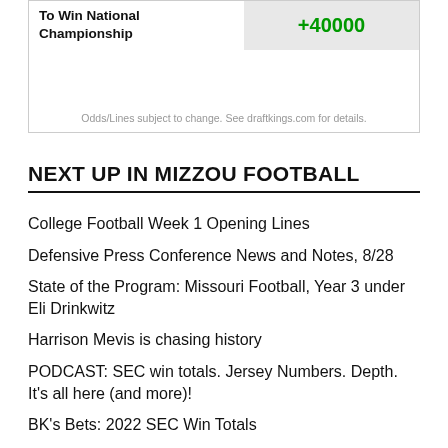| To Win National Championship | Odds |
| --- | --- |
| To Win National Championship | +40000 |
Odds/Lines subject to change. See draftkings.com for details.
NEXT UP IN MIZZOU FOOTBALL
College Football Week 1 Opening Lines
Defensive Press Conference News and Notes, 8/28
State of the Program: Missouri Football, Year 3 under Eli Drinkwitz
Harrison Mevis is chasing history
PODCAST: SEC win totals. Jersey Numbers. Depth. It's all here (and more)!
BK's Bets: 2022 SEC Win Totals
A proven (and powerful) energy source to fight climate